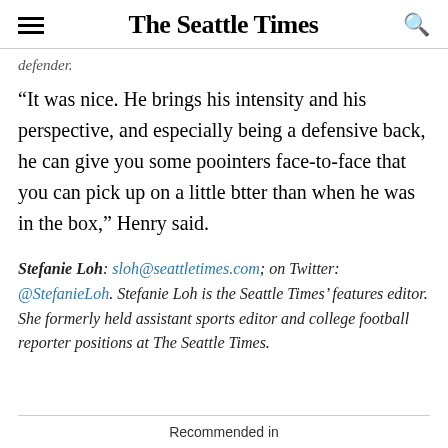The Seattle Times
defender.
“It was nice. He brings his intensity and his perspective, and especially being a defensive back, he can give you some poointers face-to-face that you can pick up on a little btter than when he was in the box,” Henry said.
Stefanie Loh: sloh@seattletimes.com; on Twitter: @StefanieLoh. Stefanie Loh is the Seattle Times’ features editor. She formerly held assistant sports editor and college football reporter positions at The Seattle Times.
Recommended in